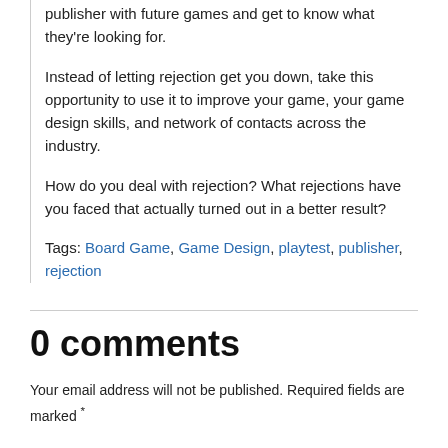publisher with future games and get to know what they're looking for.
Instead of letting rejection get you down, take this opportunity to use it to improve your game, your game design skills, and network of contacts across the industry.
How do you deal with rejection? What rejections have you faced that actually turned out in a better result?
Tags: Board Game, Game Design, playtest, publisher, rejection
0 comments
Your email address will not be published. Required fields are marked *